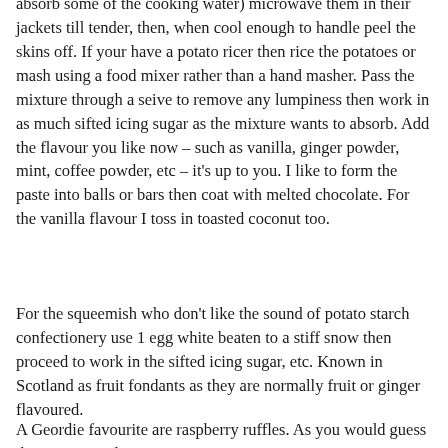absorb some of the cooking water) microwave them in their jackets till tender, then, when cool enough to handle peel the skins off. If your have a potato ricer then rice the potatoes or mash using a food mixer rather than a hand masher. Pass the mixture through a seive to remove any lumpiness then work in as much sifted icing sugar as the mixture wants to absorb. Add the flavour you like now – such as vanilla, ginger powder, mint, coffee powder, etc – it's up to you. I like to form the paste into balls or bars then coat with melted chocolate. For the vanilla flavour I toss in toasted coconut too.
For the squeemish who don't like the sound of potato starch confectionery use 1 egg white beaten to a stiff snow then proceed to work in the sifted icing sugar, etc. Known in Scotland as fruit fondants as they are normally fruit or ginger flavoured.
A Geordie favourite are raspberry ruffles. As you would guess the paste is pink &